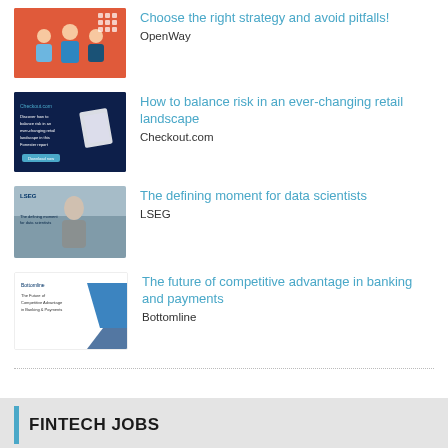[Figure (illustration): Thumbnail image: red/orange background with people and grid icons]
Choose the right strategy and avoid pitfalls!
OpenWay
[Figure (illustration): Thumbnail image: dark blue background with Checkout.com branding and document]
How to balance risk in an ever-changing retail landscape
Checkout.com
[Figure (illustration): Thumbnail image: LSEG branding with a person and blurred background]
The defining moment for data scientists
LSEG
[Figure (illustration): Thumbnail image: Bottomline branding with blue geometric shapes]
The future of competitive advantage in banking and payments
Bottomline
FINTECH JOBS